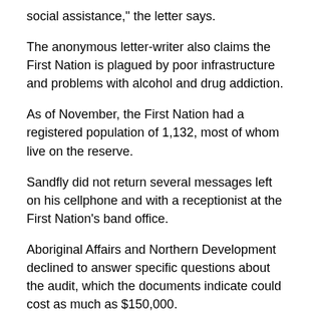social assistance," the letter says.
The anonymous letter-writer also claims the First Nation is plagued by poor infrastructure and problems with alcohol and drug addiction.
As of November, the First Nation had a registered population of 1,132, most of whom live on the reserve.
Sandfly did not return several messages left on his cellphone and with a receptionist at the First Nation's band office.
Aboriginal Affairs and Northern Development declined to answer specific questions about the audit, which the documents indicate could cost as much as $150,000.
“The department takes allegations of misuse of public